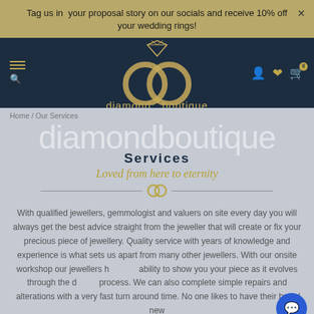Tag us in your proposal story on our socials and receive 10% off your wedding rings!
[Figure (logo): Diamond Boutique logo with two interlocking rings and diamond icon in navy header bar with navigation icons]
Home / Our Services
diamondboutique
Services
Loved from here to eternity
With qualified jewellers, gemmologist and valuers on site every day you will always get the best advice straight from the jeweller that will create or fix your precious piece of jewellery. Quality service with years of knowledge and experience is what sets us apart from many other jewellers. With our onsite workshop our jewellers have the ability to show you your piece as it evolves through the creation process. We can also complete simple repairs and alterations with a very fast turn around time. No one likes to have their brand new